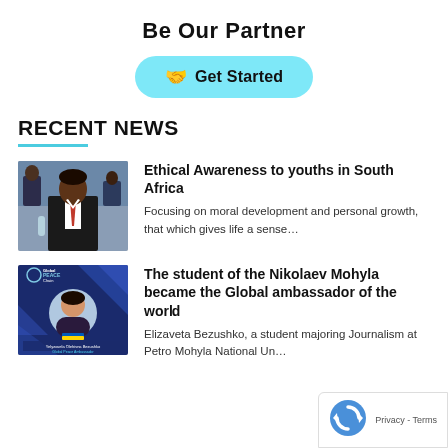Be Our Partner
[Figure (other): Get Started button with handshake icon on light blue pill-shaped background]
RECENT NEWS
[Figure (photo): Man in suit with red tie at a conference setting]
Ethical Awareness to youths in South Africa
Focusing on moral development and personal growth, that which gives life a sense…
[Figure (photo): Global Peace Chain ambassador graphic featuring Yelyzavela Olehivna Bezushko]
The student of the Nikolaev Mohyla became the Global ambassador of the world
Elizaveta Bezushko, a student majoring Journalism at Petro Mohyla National Un…
[Figure (other): Google reCAPTCHA icon - blue circular arrows]